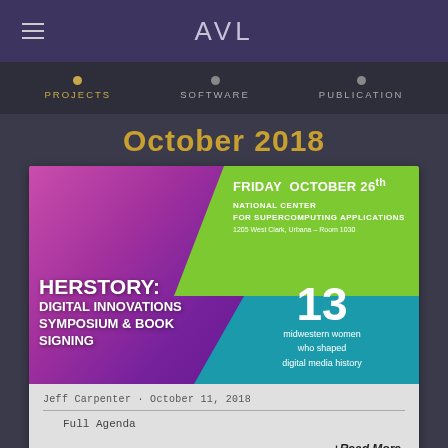AVL
PROJECTS  SOFTWARE  PUBLICATION
October 2018
[Figure (infographic): HERSTORY: Digital Innovations Symposium & Book Signing event flyer. Friday October 26th, National Center for Supercomputing Applications, 1205 West Clark, Urbana – Room 1030. 13 midwestern women who shaped digital media history.]
Jeff Carpenter · October 11, 2018
Full Agenda
+Read More
October 2018